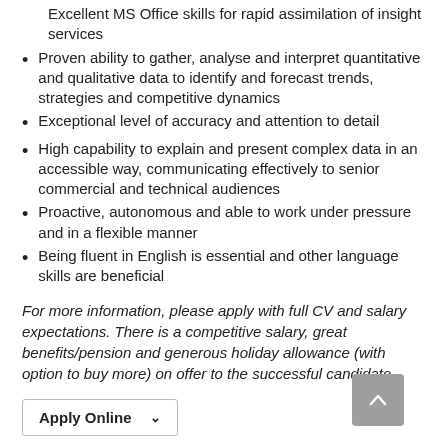Excellent MS Office skills for rapid assimilation of insight services
Proven ability to gather, analyse and interpret quantitative and qualitative data to identify and forecast trends, strategies and competitive dynamics
Exceptional level of accuracy and attention to detail
High capability to explain and present complex data in an accessible way, communicating effectively to senior commercial and technical audiences
Proactive, autonomous and able to work under pressure and in a flexible manner
Being fluent in English is essential and other language skills are beneficial
For more information, please apply with full CV and salary expectations. There is a competitive salary, great benefits/pension and generous holiday allowance (with option to buy more) on offer to the successful candidate.